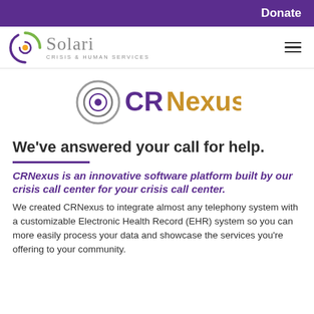Donate
[Figure (logo): Solari Crisis & Human Services logo — circular swirl icon in green and purple with yellow center dot, beside the text 'Solari' in gray serif with tagline 'CRISIS & HUMAN SERVICES']
[Figure (logo): CRNexus logo — circular concentric rings icon in purple/gray with center dot, beside text 'CR' in purple and 'Nexus' in gold/yellow]
We've answered your call for help.
CRNexus is an innovative software platform built by our crisis call center for your crisis call center.
We created CRNexus to integrate almost any telephony system with a customizable Electronic Health Record (EHR) system so you can more easily process your data and showcase the services you're offering to your community.